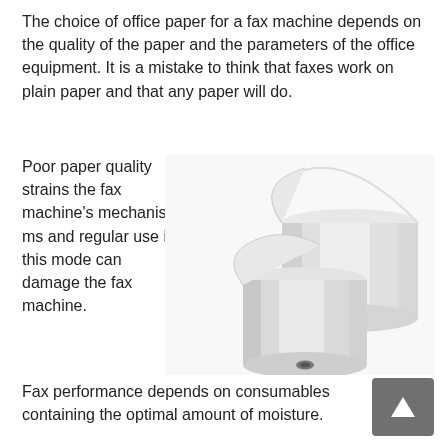The choice of office paper for a fax machine depends on the quality of the paper and the parameters of the office equipment. It is a mistake to think that faxes work on plain paper and that any paper will do.
Poor paper quality strains the fax machine's mechanisms and regular use in this mode can damage the fax machine.
[Figure (photo): Two rolls of white thermal/fax paper standing upright, photographed against a white background.]
Fax performance depends on consumables containing the optimal amount of moisture.